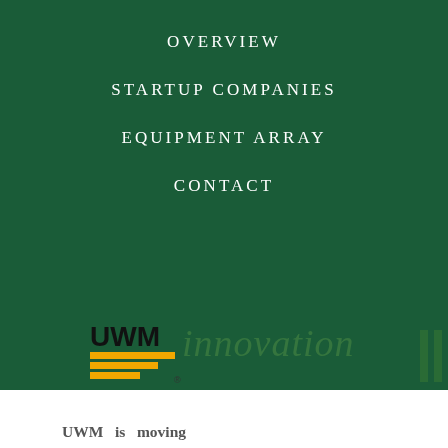OVERVIEW
STARTUP COMPANIES
EQUIPMENT ARRAY
CONTACT
[Figure (logo): UWM Innovation logo with yellow and black UWM wordmark and green vertical lines mark on the right]
UWM is moving Milwaukee and the region forward. Join with us as we leverage the assets of the region to develop a world-class, public private research